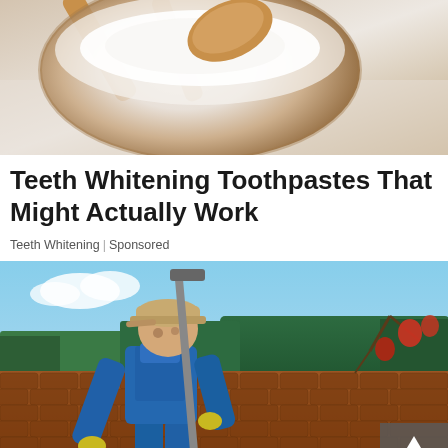[Figure (photo): Close-up photo of a wooden spoon and bowl with white powder (likely baking soda or tooth powder), suggesting teeth whitening ingredients]
Teeth Whitening Toothpastes That Might Actually Work
Teeth Whitening | Sponsored
[Figure (photo): Photo of a worker in blue overalls and cap using a long-handled tool to clean debris from a tile roof, with trees and sky in the background. A 'Top' navigation button overlay appears in the bottom right corner.]